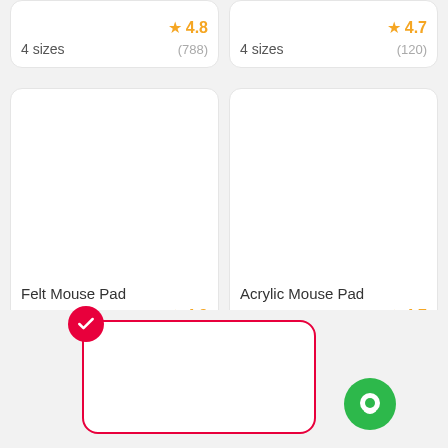[Figure (screenshot): Top-left product card (partial) showing 4 sizes, 4.8 stars, 788 reviews]
[Figure (screenshot): Top-right product card (partial) showing 4 sizes, 4.7 stars, 120 reviews]
[Figure (screenshot): Bottom-left product card: Felt Mouse Pad, 4 sizes, 4.9 stars, 62 reviews]
[Figure (screenshot): Bottom-right product card: Acrylic Mouse Pad, 4 sizes, 4.7 stars, 68 reviews]
[Figure (screenshot): Selected product card with red border and check badge, with green chat button]